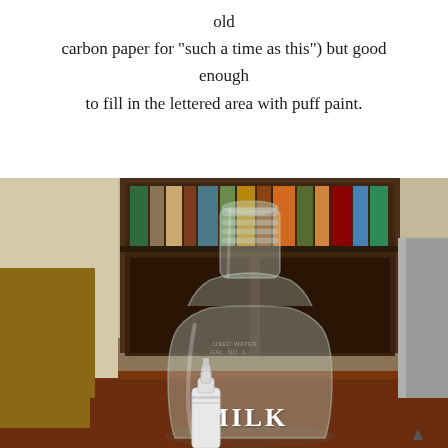old
carbon paper for "such a time as this") but good enough
to fill in the lettered area with puff paint.
[Figure (photo): A clear glass milk jug bottle with 'MILK' written in white puff paint letters on its lower portion, sitting on a wooden table. A small white plastic bottle with a nozzle tip is in front of it. In the background is a dark wooden bookcase/hutch with books, and a wooden chair. The setting appears to be a dining room.]